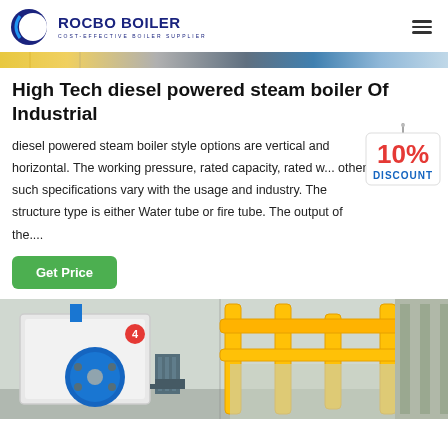[Figure (logo): Rocbo Boiler logo with crescent C icon, text ROCBO BOILER and subtitle COST-EFFECTIVE BOILER SUPPLIER]
[Figure (photo): Partial banner strip showing industrial equipment in yellow and blue tones]
High Tech diesel powered steam boiler Of Industrial
diesel powered steam boiler style options are vertical and horizontal. The working pressure, rated capacity, rated w... other such specifications vary with the usage and industry. The structure type is either Water tube or fire tube. The output of the....
[Figure (infographic): 10% DISCOUNT badge/tag hanging graphic in red and blue]
[Figure (photo): Industrial boiler equipment photo showing blue cylindrical boiler unit and yellow industrial pipes in a factory setting]